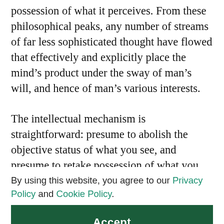possession of what it perceives. From these philosophical peaks, any number of streams of far less sophisticated thought have flowed that effectively and explicitly place the mind's product under the sway of man's will, and hence of man's various interests.
The intellectual mechanism is straightforward: presume to abolish the objective status of what you see, and presume to retake possession of what you then suppose to be reality, based on what matters to
By using this website, you agree to our Privacy Policy and Cookie Policy.
Accept
s as
reud's
assertion of perceptions as reflections of sexuality